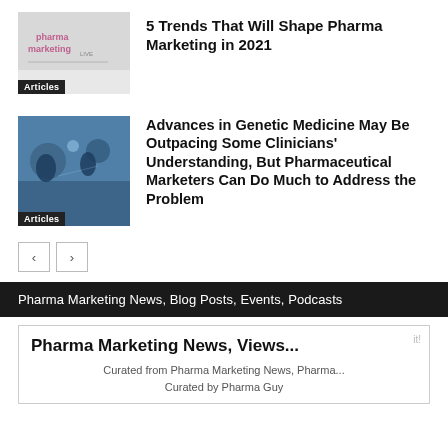[Figure (photo): Pharma Marketing logo on grey background with 'Articles' badge]
5 Trends That Will Shape Pharma Marketing in 2021
[Figure (photo): Medical/scientific laboratory scene with blue tones, two figures in background, with 'Articles' badge]
Advances in Genetic Medicine May Be Outpacing Some Clinicians' Understanding, But Pharmaceutical Marketers Can Do Much to Address the Problem
Pharma Marketing News, Blog Posts, Events, Podcasts
Pharma Marketing News, Views...
Curated from Pharma Marketing News, Pharma...
Curated by Pharma Guy